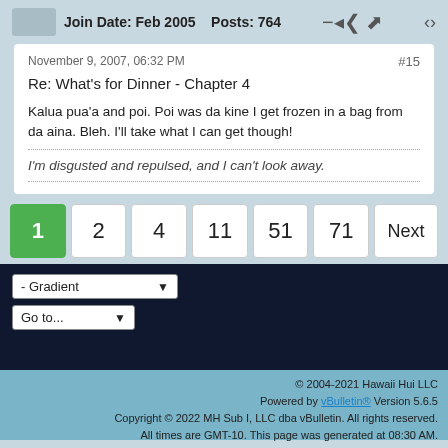Join Date: Feb 2005   Posts: 764
November 9, 2007, 06:32 PM
#15
Re: What's for Dinner - Chapter 4
Kalua pua'a and poi. Poi was da kine I get frozen in a bag from da aina. Bleh. I'll take what I can get though!
I'm disgusted and repulsed, and I can't look away.
1
2
4
11
51
71
Next
- Gradient
Go to...
© 2004-2021 Hawaii Hui LLC Powered by vBulletin® Version 5.6.5 Copyright © 2022 MH Sub I, LLC dba vBulletin. All rights reserved. All times are GMT-10. This page was generated at 08:30 AM.